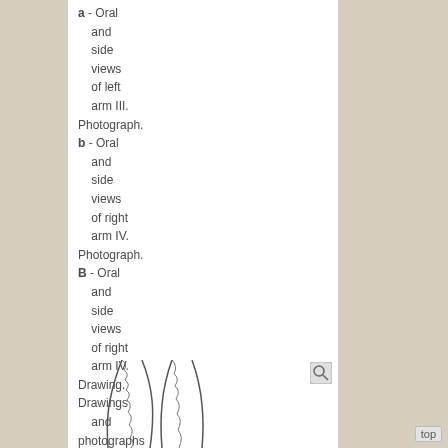a - Oral and side views of left arm III. Photograph. b - Oral and side views of right arm IV. Photograph. B - Oral and side views of right arm IV. Drawing. Drawings and photographs from Lu (2005).
[Figure (illustration): Illustration showing oral and side views of octopus arm suckers, drawn in black and white line art style, partially visible at bottom of page.]